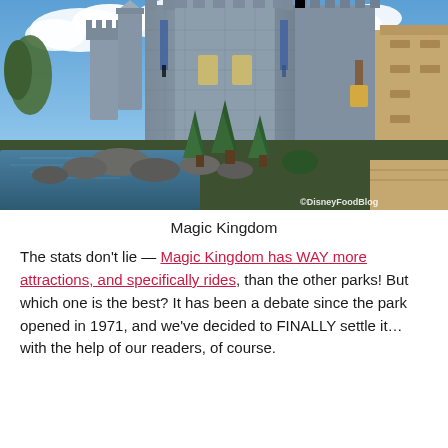[Figure (photo): Cinderella Castle at Magic Kingdom, Walt Disney World. Close-up view from below showing the grey stone towers with blue and gold banners, surrounded by rocks, evergreen trees, and a moat with reflections. Blue sky with white clouds above. Watermark: ©DisneyFoodBlog in bottom right.]
Magic Kingdom
The stats don't lie — Magic Kingdom has WAY more attractions, and specifically rides, than the other parks! But which one is the best? It has been a debate since the park opened in 1971, and we've decided to FINALLY settle it…with the help of our readers, of course.